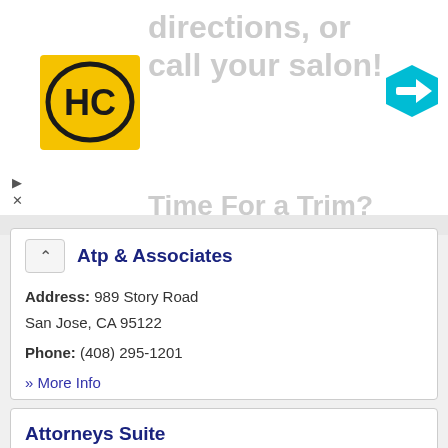[Figure (screenshot): Advertisement banner showing HC logo, navigation arrow icon, partial ad text 'directions, or call your salon!' and 'Time For a Trim?' with close controls]
Atp & Associates
Address: 989 Story Road San Jose, CA 95122
Phone: (408) 295-1201
» More Info
Attorneys Suite
Address: 95 S Market Street San Jose, CA 95113
Phone: (408) 279-1877
» More Info